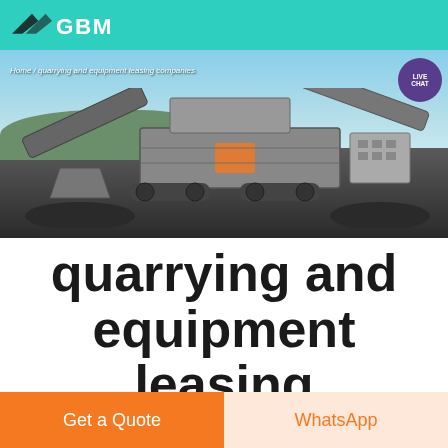GBM (logo with teal header bar)
[Figure (photo): Hero banner showing a large industrial mobile crushing/screening machine in an outdoor quarry setting with blue sky background. Breadcrumb navigation overlay reads: Home / quarrying and equipment leasing companies. Live Chat button visible top right.]
quarrying and equipment leasing companies in cebu
Get a Quote
WhatsApp